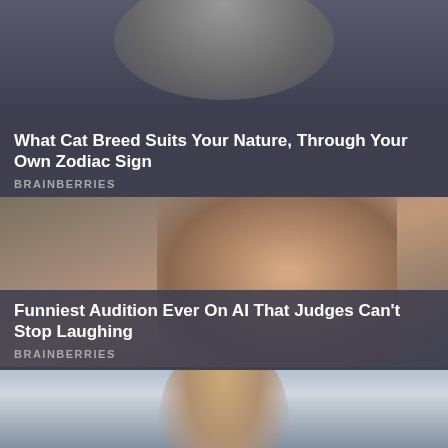[Figure (photo): Top card: blurred cat or animal photo background, dark blue-grey tones]
What Cat Breed Suits Your Nature, Through Your Own Zodiac Sign
BRAINBERRIES
[Figure (photo): Middle card: woman with brown hair covering her face with her hand, wearing rings, laughing/embarrassed expression]
Funniest Audition Ever On AI That Judges Can't Stop Laughing
BRAINBERRIES
[Figure (photo): Bottom card (partial): woman with long brown hair, outdoor background with buildings and cloudy sky]